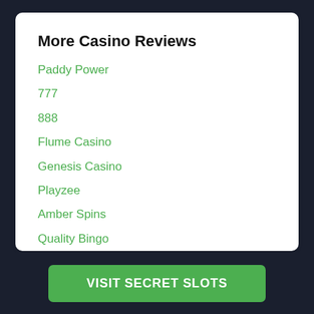More Casino Reviews
Paddy Power
777
888
Flume Casino
Genesis Casino
Playzee
Amber Spins
Quality Bingo
Double Bubble Bingo
Blush Bingo
VISIT SECRET SLOTS